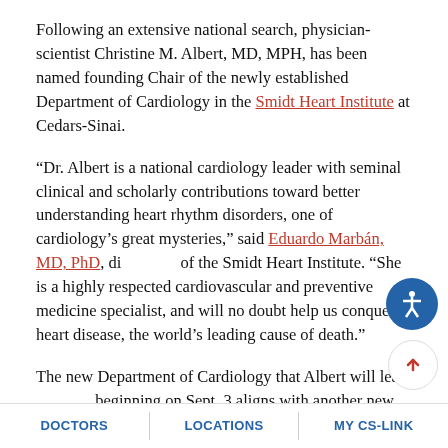Following an extensive national search, physician-scientist Christine M. Albert, MD, MPH, has been named founding Chair of the newly established Department of Cardiology in the Smidt Heart Institute at Cedars-Sinai.
“Dr. Albert is a national cardiology leader with seminal clinical and scholarly contributions toward better understanding heart rhythm disorders, one of cardiology’s great mysteries,” said Eduardo Marbán, MD, PhD, director of the Smidt Heart Institute. “She is a highly respected cardiovascular and preventive medicine specialist, and will no doubt help us conquer heart disease, the world’s leading cause of death.”
The new Department of Cardiology that Albert will lead beginning on Sept. 3 aligns with another new department, the Department of Cardiac Surgery. Both departments...
DOCTORS   LOCATIONS   MY CS-LINK